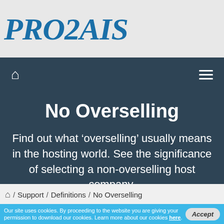PRO2AIS
[Figure (screenshot): Navigation bar with home icon on left and hamburger menu icon on right, dark navy background]
No Overselling
Find out what ‘overselling’ usually means in the hosting world. See the significance of selecting a non-overselling host company.
Home / Support / Definitions / No Overselling
Our site uses cookies. By proceeding to the website you are giving your permission to download our cookies. Learn more about our cookies here.